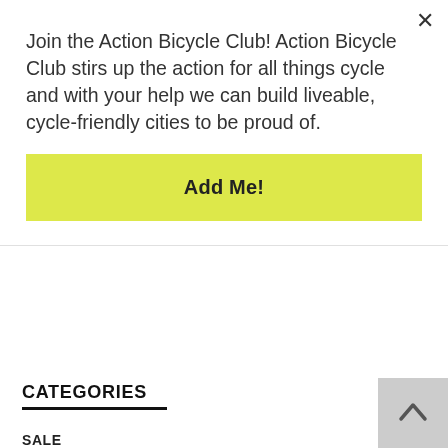Join the Action Bicycle Club! Action Bicycle Club stirs up the action for all things cycle and with your help we can build liveable, cycle-friendly cities to be proud of.
Add Me!
CATEGORIES
SALE